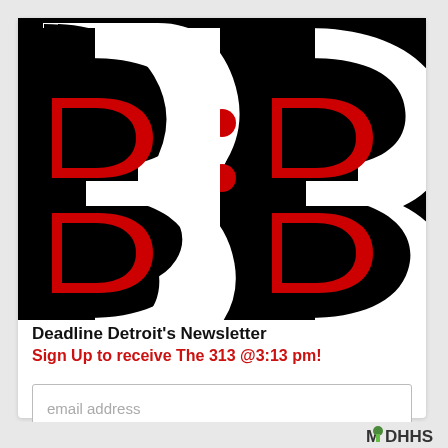[Figure (logo): Large '313' logo in black with red D-shaped accent marks inside the 3s, and two red dots forming a colon between the 1 and the last 3. Black background.]
Deadline Detroit's Newsletter
Sign Up to receive The 313 @3:13 pm!
email address
Subscribe
[Figure (logo): MDHHS logo partially visible at bottom right]